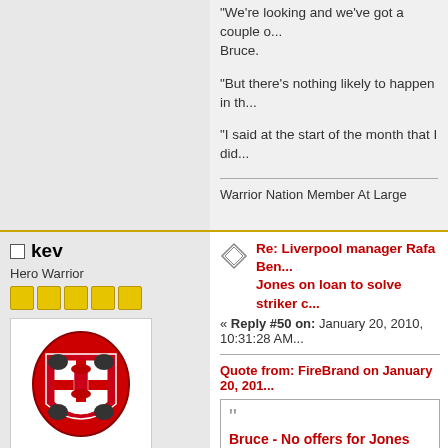"We're looking and we've got a couple of...Bruce.
"But there's nothing likely to happen in th...
"I said at the start of the month that I did...
Warrior Nation Member At Large
kev
Hero Warrior
Posts: 1692
Lifes a bitch, then you marry one
Re: Liverpool manager Rafa Ben... Jones on loan to solve striker c...
« Reply #50 on: January 20, 2010, 10:31:28 AM
Quote from: FireBrand on January 20, 201...
Bruce - No offers for Jones
By: Lizzie Rose (Sky Sports...
Black Cats boss insists no offers hav...
What would be the point of letting Kenwy...Bruce